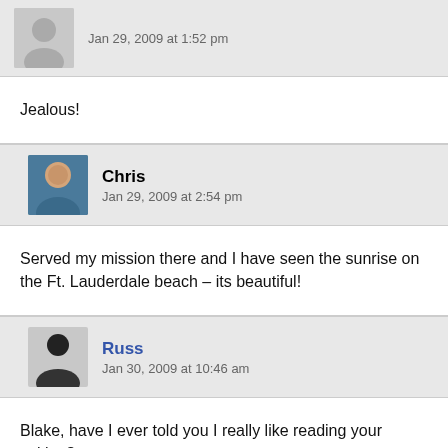Jan 29, 2009 at 1:52 pm
Jealous!
Chris
Jan 29, 2009 at 2:54 pm
Served my mission there and I have seen the sunrise on the Ft. Lauderdale beach – its beautiful!
Russ
Jan 30, 2009 at 10:46 am
Blake, have I ever told you I really like reading your writing?
Blake Snow
Jan 30, 2009 at 11:42 am
Thanks, Russ.